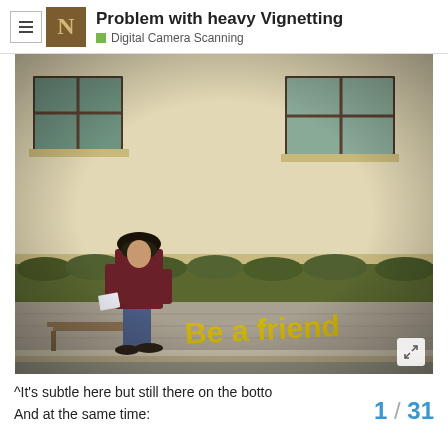Problem with heavy Vignetting | Digital Camera Scanning
[Figure (photo): Street photo of an older man in a dark hat and maroon jacket walking past a stone wall with yellow graffiti reading 'Be a friend'. A wooden bench is visible to the left. Two windows with dark brown frames are visible on the building above.]
^It's subtle here but still there on the bottom
And at the same time:
1 / 31